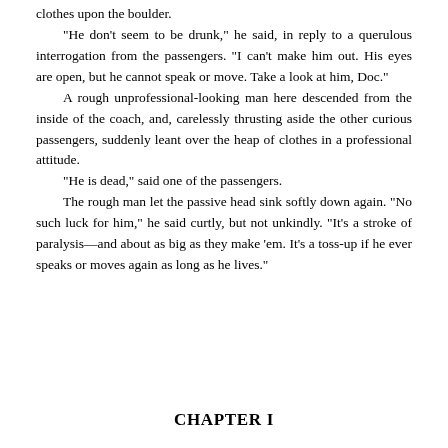clothes upon the boulder.
"He don't seem to be drunk," he said, in reply to a querulous interrogation from the passengers. "I can't make him out. His eyes are open, but he cannot speak or move. Take a look at him, Doc."
A rough unprofessional-looking man here descended from the inside of the coach, and, carelessly thrusting aside the other curious passengers, suddenly leant over the heap of clothes in a professional attitude.
"He is dead," said one of the passengers.
The rough man let the passive head sink softly down again. "No such luck for him," he said curtly, but not unkindly. "It's a stroke of paralysis—and about as big as they make 'em. It's a toss-up if he ever speaks or moves again as long as he lives."
CHAPTER I